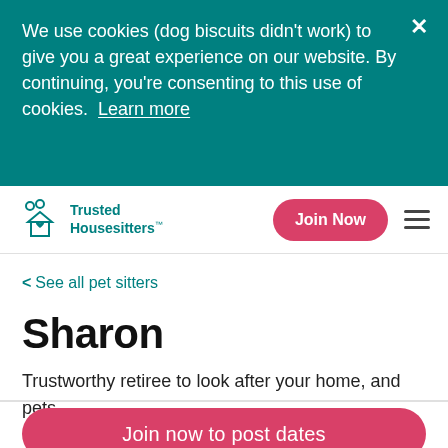We use cookies (dog biscuits didn't work) to give you a great experience on our website. By continuing, you're consenting to this use of cookies. Learn more
[Figure (logo): Trusted Housesitters logo with house and pet sitter icons]
Join Now
< See all pet sitters
Sharon
Trustworthy retiree to look after your home, and pets.
Join now to post dates